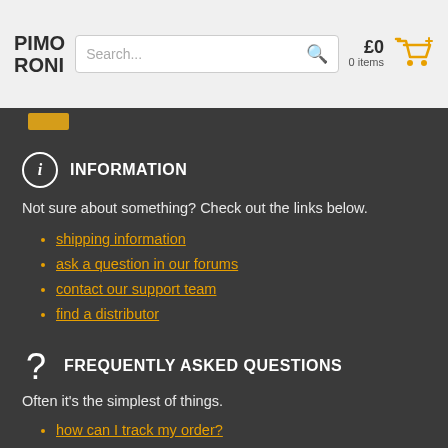PIMORONI | Search... | £0 0 items
INFORMATION
Not sure about something? Check out the links below.
shipping information
ask a question in our forums
contact our support team
find a distributor
FREQUENTLY ASKED QUESTIONS
Often it's the simplest of things.
how can I track my order?